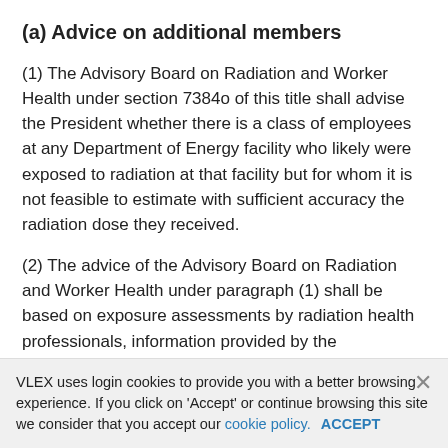(a) Advice on additional members
(1) The Advisory Board on Radiation and Worker Health under section 7384o of this title shall advise the President whether there is a class of employees at any Department of Energy facility who likely were exposed to radiation at that facility but for whom it is not feasible to estimate with sufficient accuracy the radiation dose they received.
(2) The advice of the Advisory Board on Radiation and Worker Health under paragraph (1) shall be based on exposure assessments by radiation health professionals, information provided by the Department of Energy, and such other information as the Advisory Board considers appropriate.
(3) The President shall request advice under paragraph (1) after consideration of petitions by classes of employees described in that paragraph
VLEX uses login cookies to provide you with a better browsing experience. If you click on 'Accept' or continue browsing this site we consider that you accept our cookie policy. ACCEPT